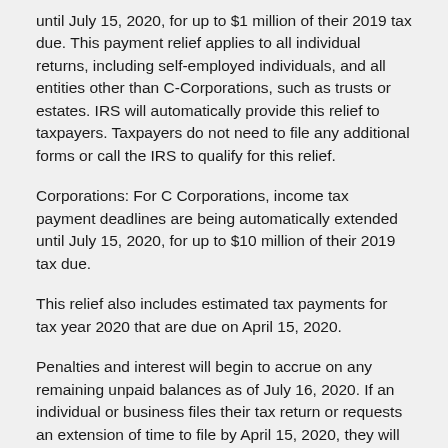until July 15, 2020, for up to $1 million of their 2019 tax due. This payment relief applies to all individual returns, including self-employed individuals, and all entities other than C-Corporations, such as trusts or estates. IRS will automatically provide this relief to taxpayers. Taxpayers do not need to file any additional forms or call the IRS to qualify for this relief.
Corporations: For C Corporations, income tax payment deadlines are being automatically extended until July 15, 2020, for up to $10 million of their 2019 tax due.
This relief also includes estimated tax payments for tax year 2020 that are due on April 15, 2020.
Penalties and interest will begin to accrue on any remaining unpaid balances as of July 16, 2020. If an individual or business files their tax return or requests an extension of time to file by April 15, 2020, they will automatically avoid interest and penalties on the taxes paid by July 15. The easiest and fastest way to request a filing extension is